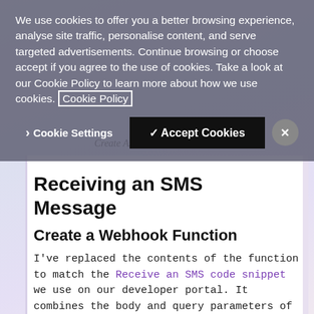We use cookies to offer you a better browsing experience, analyse site traffic, personalise content, and serve targeted advertisements. Continue browsing or choose accept if you agree to the use of cookies. Take a look at our Cookie Policy to learn more about how we use cookies. Cookie Policy
Create Azure Function template
Receiving an SMS Message
Create a Webhook Function
I've replaced the contents of the function to match the Receive an SMS code snippet we use on our developer portal. It combines the body and query parameters of a